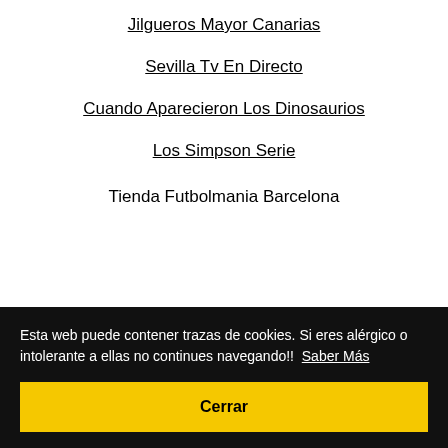Jilgueros Mayor Canarias
Sevilla Tv En Directo
Cuando Aparecieron Los Dinosaurios
Los Simpson Serie
Tienda Futbolmania Barcelona
Esta web puede contener trazas de cookies. Si eres alérgico o intolerante a ellas no continues navegando!!  Saber Más
Cerrar
Cambiar Idioma Win 7